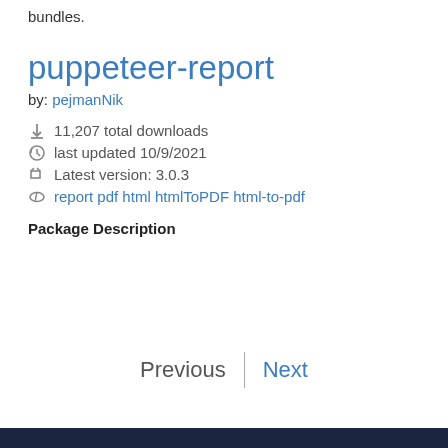bundles.
puppeteer-report
by: pejmanNik
11,207 total downloads
last updated 10/9/2021
Latest version: 3.0.3
report pdf html htmlToPDF html-to-pdf
Package Description
Previous | Next